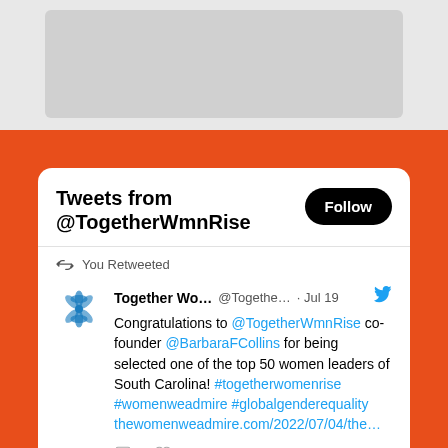[Figure (screenshot): Gray banner area at top of page]
[Figure (screenshot): Orange background section with Twitter widget card showing tweets from @TogetherWmnRise. Card includes Follow button, a retweet by the user, and a tweet from Together Wo... @Togethe... Jul 19 congratulating @TogetherWmnRise co-founder @BarbaraFCollins for being selected one of the top 50 women leaders of South Carolina, with hashtags #togetherwomenrise #womenweadmire #globalgenderequality and a link. Tweet has 2 likes. A second tweet item begins at the bottom.]